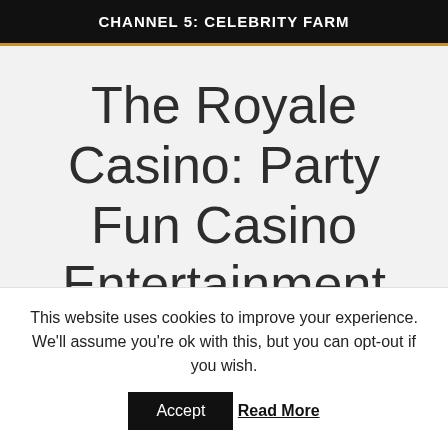CHANNEL 5: CELEBRITY FARM
The Royale Casino: Party Fun Casino Entertainment Hire Bath - Bristol -
This website uses cookies to improve your experience. We'll assume you're ok with this, but you can opt-out if you wish.
Accept  Read More